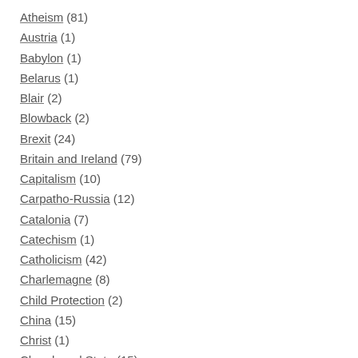Atheism (81)
Austria (1)
Babylon (1)
Belarus (1)
Blair (2)
Blowback (2)
Brexit (24)
Britain and Ireland (79)
Capitalism (10)
Carpatho-Russia (12)
Catalonia (7)
Catechism (1)
Catholicism (42)
Charlemagne (8)
Child Protection (2)
China (15)
Christ (1)
Church and State (15)
Church Life (14)